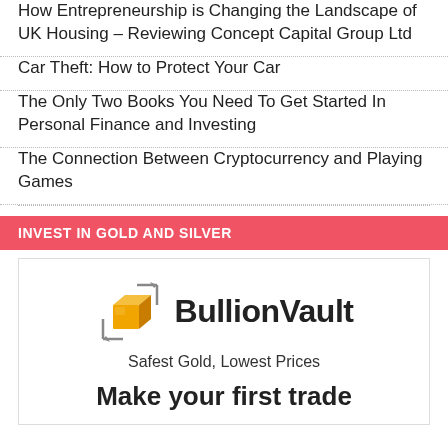How Entrepreneurship is Changing the Landscape of UK Housing – Reviewing Concept Capital Group Ltd
Car Theft: How to Protect Your Car
The Only Two Books You Need To Get Started In Personal Finance and Investing
The Connection Between Cryptocurrency and Playing Games
INVEST IN GOLD AND SILVER
[Figure (logo): BullionVault logo with gold cube icon, tagline 'Safest Gold, Lowest Prices', and CTA 'Make your first trade']